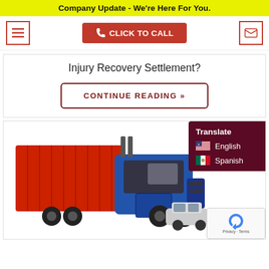Company Update - We're Here For You.
[Figure (screenshot): Navigation bar with hamburger menu icon, red CLICK TO CALL button with phone icon, and red envelope icon in a box]
Injury Recovery Settlement?
CONTINUE READING »
[Figure (photo): A blue semi-truck with a red cargo trailer in a collision with a silver/white car on a white background]
Translate
English
Spanish